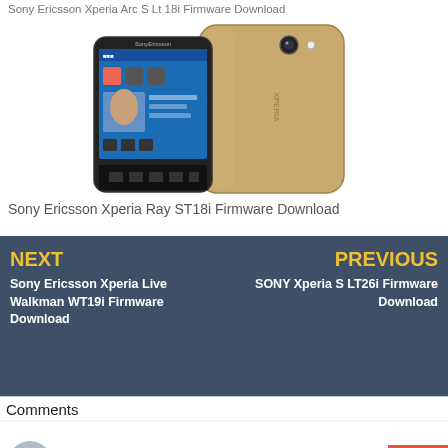Sony Ericsson Xperia Arc S Lt 18i Firmware Download
[Figure (photo): Sony Ericsson Xperia Ray ST18i smartphone shown from front and back, gold/champagne color]
Sony Ericsson Xperia Ray ST18i Firmware Download
NEXT
Sony Ericsson Xperia Live Walkman WT19i Firmware Download
PREVIOUS
SONY Xperia S LT26i Firmware Download
Comments